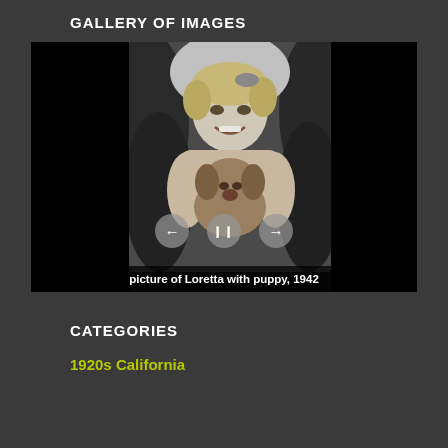GALLERY OF IMAGES
[Figure (photo): Black and white photograph of a young girl named Loretta holding a puppy, taken in 1942. The photo is displayed in a slideshow viewer with black side panels and navigation controls (back arrow, pause, forward arrow). A caption reads 'picture of Loretta with puppy, 1942'.]
CATEGORIES
1920s California